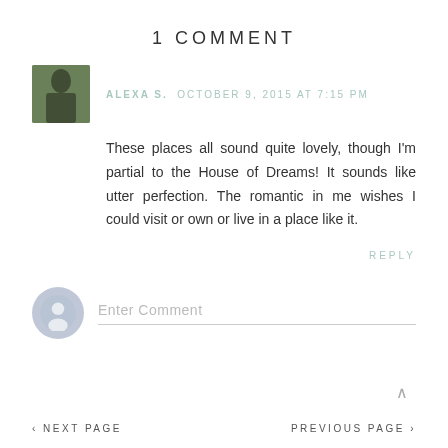1 COMMENT
ALEXA S.  OCTOBER 9, 2015 AT 7:15 PM
These places all sound quite lovely, though I'm partial to the House of Dreams! It sounds like utter perfection. The romantic in me wishes I could visit or own or live in a place like it.
REPLY
Enter Comment
‹ NEXT PAGE    PREVIOUS PAGE ›